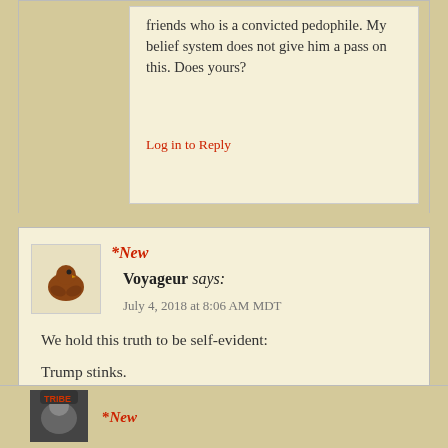friends who is a convicted pedophile. My belief system does not give him a pass on this. Does yours?
Log in to Reply
*New
Voyageur says:
July 4, 2018 at 8:06 AM MDT
We hold this truth to be self-evident:
Trump stinks.
Stay upwind, America.
The monster gets weaker every day.
Log in to Reply
*New